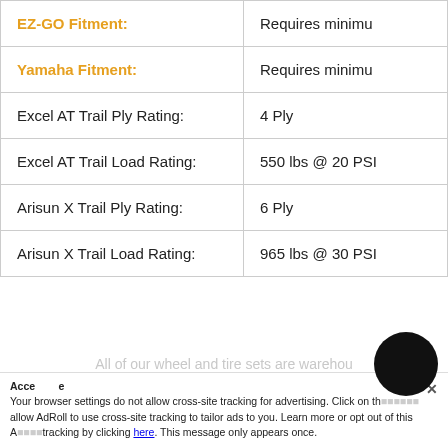| Attribute | Value |
| --- | --- |
| EZ-GO Fitment: | Requires minimu… |
| Yamaha Fitment: | Requires minimu… |
| Excel AT Trail Ply Rating: | 4 Ply |
| Excel AT Trail Load Rating: | 550 lbs @ 20 PSI |
| Arisun X Trail Ply Rating: | 6 Ply |
| Arisun X Trail Load Rating: | 965 lbs @ 30 PSI |
All of our wheel and tire sets are warehou…
Your browser settings do not allow cross-site tracking for advertising. Click on the… to allow AdRoll to use cross-site tracking to tailor ads to you. Learn more or opt out of this AdRoll tracking by clicking here. This message only appears once.
…okesperson of our competitor who drop ship…